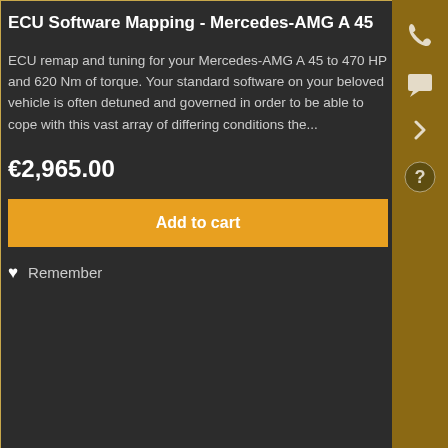ECU Software Mapping - Mercedes-AMG A 45
ECU remap and tuning for your Mercedes-AMG A 45 to 470 HP and 620 Nm of torque. Your standard software on your beloved vehicle is often detuned and governed in order to be able to cope with this vast array of differing conditions the...
€2,965.00
Add to cart
Remember
[Figure (photo): Photograph of a laptop showing ECU software on screen, placed on a car engine bay next to diagnostic tools and a branded circular emblem/patch]